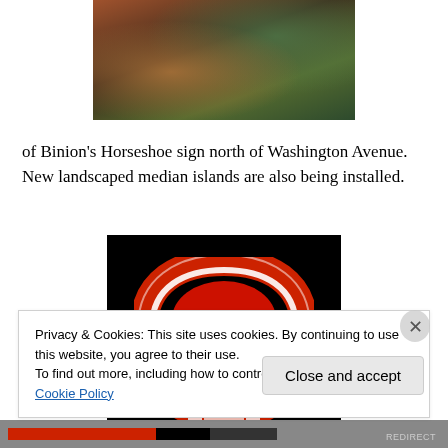[Figure (photo): Partial photo at top of page showing a scene with warm brown and green tones, partially cropped]
of Binion's Horseshoe sign north of Washington Avenue. New landscaped median islands are also being installed.
[Figure (photo): Nighttime photo of a horseshoe-shaped casino sign with red and white neon lights reading 'CASINO' at the top, against a black background]
Privacy & Cookies: This site uses cookies. By continuing to use this website, you agree to their use.
To find out more, including how to control cookies, see here: Cookie Policy
Close and accept